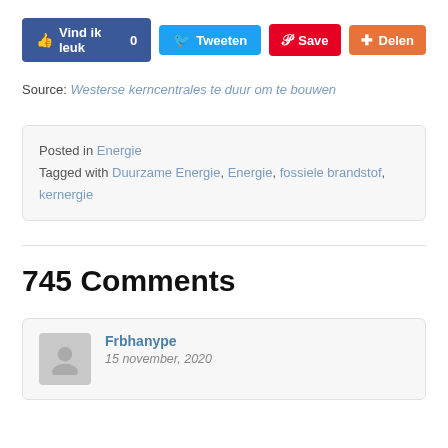[Figure (other): Social sharing buttons: Vind ik leuk 0 (Facebook), Tweeten (Twitter), Save (Pinterest), Delen (Delen)]
Source: Westerse kerncentrales te duur om te bouwen
Posted in Energie
Tagged with Duurzame Energie, Energie, fossiele brandstof, kernergie
745 Comments
Frbhanype
15 november, 2020